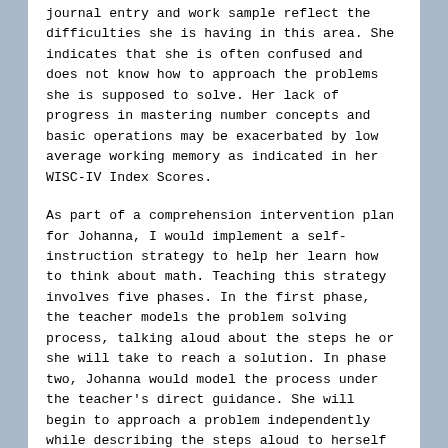journal entry and work sample reflect the difficulties she is having in this area. She indicates that she is often confused and does not know how to approach the problems she is supposed to solve. Her lack of progress in mastering number concepts and basic operations may be exacerbated by low average working memory as indicated in her WISC-IV Index Scores.
As part of a comprehension intervention plan for Johanna, I would implement a self-instruction strategy to help her learn how to think about math. Teaching this strategy involves five phases. In the first phase, the teacher models the problem solving process, talking aloud about the steps he or she will take to reach a solution. In phase two, Johanna would model the process under the teacher's direct guidance. She will begin to approach a problem independently while describing the steps aloud to herself